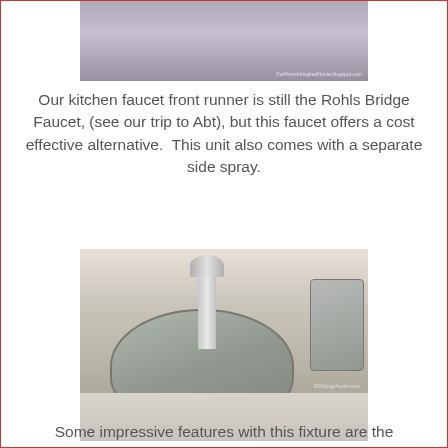[Figure (photo): Top portion of a photo showing a cabinet or door interior, partially cropped, with watermark text 'OurFrenchInspiredHome.blogspot.com']
Our kitchen faucet front runner is still the Rohls Bridge Faucet, (see our trip to Abt), but this faucet offers a cost effective alternative.  This unit also comes with a separate side spray.
[Figure (photo): Photo of a chrome bridge faucet with side spray mounted on a white kitchen sink/countertop in a showroom setting, with a watermark in the bottom right corner.]
Some impressive features with this fixture are the